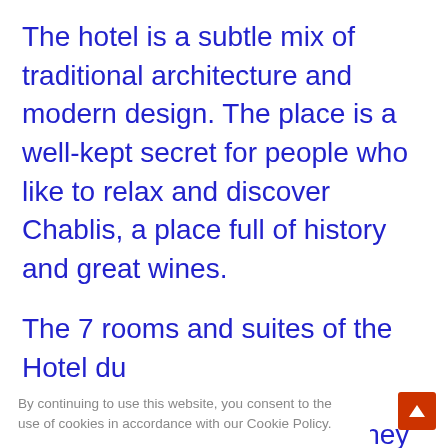The hotel is a subtle mix of traditional architecture and modern design. The place is a well-kept secret for people who like to relax and discover Chablis, a place full of history and great wines.
The 7 rooms and suites of the Hotel du
ityle s. They ng and ooms s can
By continuing to use this website, you consent to the use of cookies in accordance with our Cookie Policy.
ACCEPT